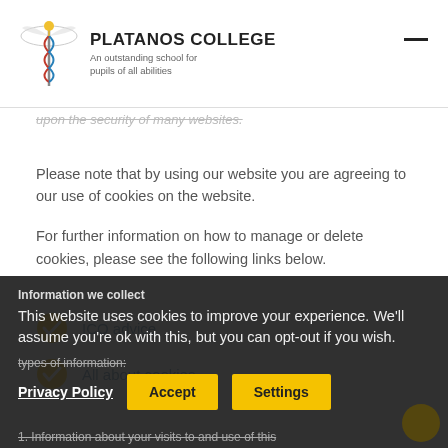PLATANOS COLLEGE An outstanding school for pupils of all abilities
upon the security of many websites.
Please note that by using our website you are agreeing to our use of cookies on the website.
For further information on how to manage or delete cookies, please see the following links below.
ICO advice
All about cookies
Information we collect
This website uses cookies to improve your experience. We'll assume you're ok with this, but you can opt-out if you wish.
types of information:
Privacy Policy   Accept   Settings
1. Information about your visits to and use of this